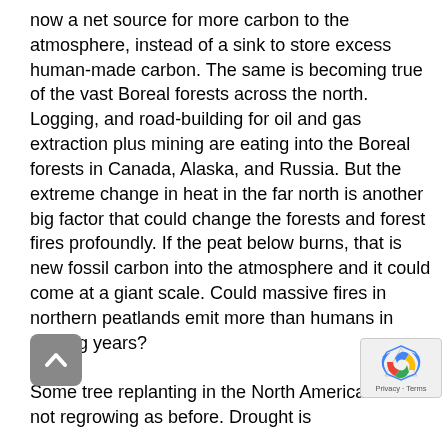now a net source for more carbon to the atmosphere, instead of a sink to store excess human-made carbon. The same is becoming true of the vast Boreal forests across the north. Logging, and road-building for oil and gas extraction plus mining are eating into the Boreal forests in Canada, Alaska, and Russia. But the extreme change in heat in the far north is another big factor that could change the forests and forest fires profoundly. If the peat below burns, that is new fossil carbon into the atmosphere and it could come at a giant scale. Could massive fires in northern peatlands emit more than humans in coming years? Some tree replanting in the North American west is not regrowing as before. Drought is